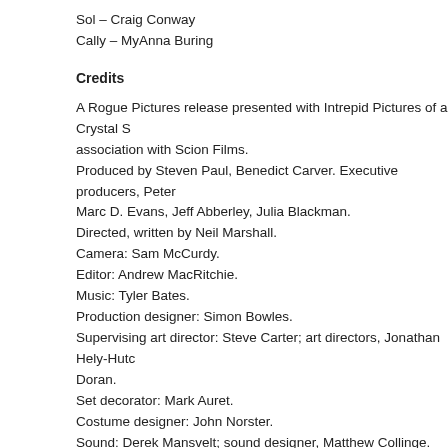Sol – Craig Conway
Cally – MyAnna Buring
Credits
A Rogue Pictures release presented with Intrepid Pictures of a Crystal S association with Scion Films.
Produced by Steven Paul, Benedict Carver. Executive producers, Peter Marc D. Evans, Jeff Abberley, Julia Blackman.
Directed, written by Neil Marshall.
Camera: Sam McCurdy.
Editor: Andrew MacRitchie.
Music: Tyler Bates.
Production designer: Simon Bowles.
Supervising art director: Steve Carter; art directors, Jonathan Hely-Hutc Doran.
Set decorator: Mark Auret.
Costume designer: John Norster.
Sound: Derek Mansvelt; sound designer, Matthew Collinge.
Visual effects supervisor, Hal Couzens.
Visual effects, Double Negative, the Senate Visual Effects.